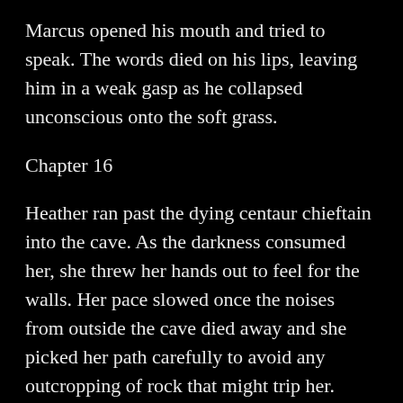Marcus opened his mouth and tried to speak. The words died on his lips, leaving him in a weak gasp as he collapsed unconscious onto the soft grass.
Chapter 16
Heather ran past the dying centaur chieftain into the cave. As the darkness consumed her, she threw her hands out to feel for the walls. Her pace slowed once the noises from outside the cave died away and she picked her path carefully to avoid any outcropping of rock that might trip her.
A sound to her left, too big to be a rat or some similar cave dweller, made her halt. Her body went rigid to prevent any movement that might cause whatever hid a few feet to her left to hear her, if it had not already. She tried holding her breath, even though this proved